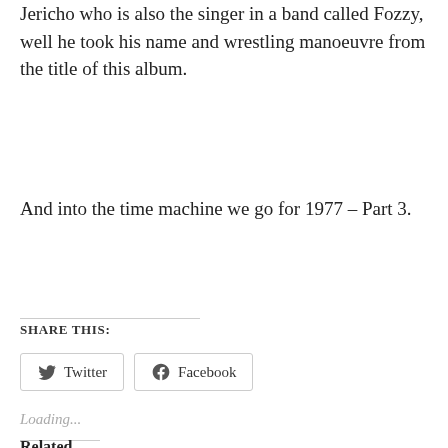Jericho who is also the singer in a band called Fozzy, well he took his name and wrestling manoeuvre from the title of this album.
And into the time machine we go for 1977 – Part 3.
SHARE THIS:
Loading...
Related